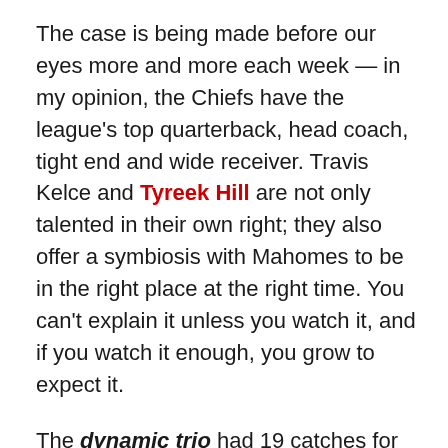The case is being made before our eyes more and more each week — in my opinion, the Chiefs have the league's top quarterback, head coach, tight end and wide receiver. Travis Kelce and Tyreek Hill are not only talented in their own right; they also offer a symbiosis with Mahomes to be in the right place at the right time. You can't explain it unless you watch it, and if you watch it enough, you grow to expect it.
The dynamic trio had 19 catches for 229 yards and two touchdowns on Sunday night.
The downside to being so good on that side of the football is that it might be easy to ignore the dose of reality on the other side. The Chiefs championship-winning 2019 defense had its struggles until halftime of Week 11 — when it seemed to finally turn the corner in